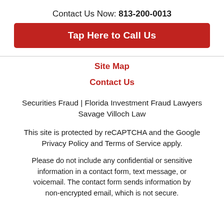Contact Us Now: 813-200-0013
[Figure (other): Red button with white bold text: Tap Here to Call Us]
Site Map
Contact Us
Securities Fraud | Florida Investment Fraud Lawyers Savage Villoch Law
This site is protected by reCAPTCHA and the Google Privacy Policy and Terms of Service apply.
Please do not include any confidential or sensitive information in a contact form, text message, or voicemail. The contact form sends information by non-encrypted email, which is not secure.